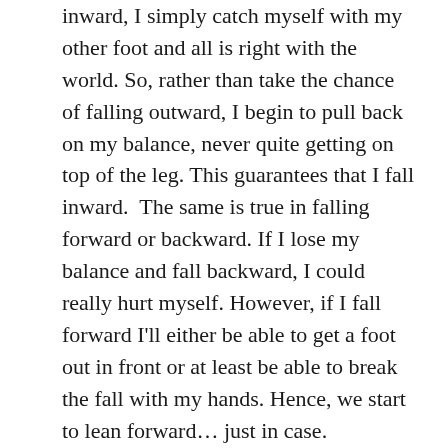inward, I simply catch myself with my other foot and all is right with the world. So, rather than take the chance of falling outward, I begin to pull back on my balance, never quite getting on top of the leg. This guarantees that I fall inward.  The same is true in falling forward or backward. If I lose my balance and fall backward, I could really hurt myself. However, if I fall forward I'll either be able to get a foot out in front or at least be able to break the fall with my hands. Hence, we start to lean forward… just in case.
What's the harm in playing it safe? Well, as we start to hedge our bet, never really balancing on one leg or standing up straight as we walk, our strides become shorter as we fall inward. We've decreased the balance challenge, which decreases our actual ability to balance, which we start to feel, which makes us hedge our bet